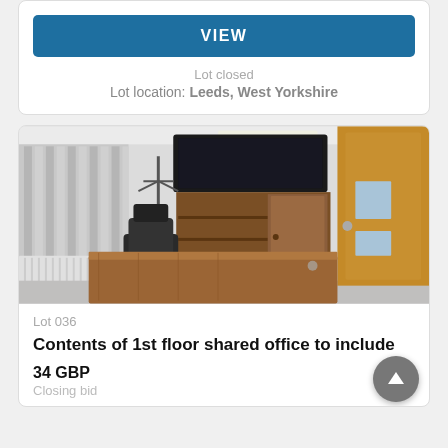VIEW
Lot closed
Lot location: Leeds, West Yorkshire
[Figure (photo): Interior office room photo showing a wall-mounted TV, wooden shelving unit/cabinet, a leather chair, wooden desk in foreground, vertical blinds on window to the left, and a wooden door to the right.]
Lot 036
Contents of 1st floor shared office to include
34 GBP
Closing bid